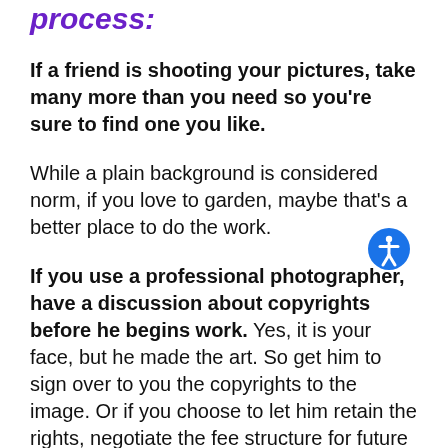process:
If a friend is shooting your pictures, take many more than you need so you're sure to find one you like.
While a plain background is considered norm, if you love to garden, maybe that's a better place to do the work.
If you use a professional photographer, have a discussion about copyrights before he begins work. Yes, it is your face, but he made the art. So get him to sign over to you the copyrights to the image. Or if you choose to let him retain the rights, negotiate the fee structure for future use – both yours AND his